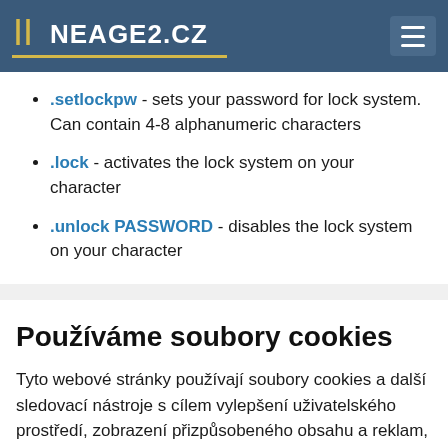LINEAGE2.CZ
.setlockpw - sets your password for lock system. Can contain 4-8 alphanumeric characters
.lock - activates the lock system on your character
.unlock PASSWORD - disables the lock system on your character
Používáme soubory cookies
Tyto webové stránky používají soubory cookies a další sledovací nástroje s cílem vylepšení uživatelského prostředí, zobrazení přizpůsobeného obsahu a reklam, analýzy